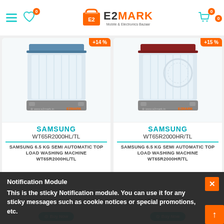E2MARK - Mobile & Electronics Bazaar
[Figure (photo): Samsung washing machine WT65R2000HL/TL product image with 14% discount badge and e2mark watermark]
SAMSUNG WT65R2000HL/TL
SAMSUNG 6.5 KG SEMI AUTOMATIC TOP LOAD WASHING MACHINE WT65R2000HL/TL
[Figure (photo): Samsung washing machine WT65R2000HR/TL product image with 15% discount badge and e2mark watermark]
SAMSUNG WT65R2000HR/TL
SAMSUNG 6.5 KG SEMI AUTOMATIC TOP LOAD WASHING MACHINE WT65R2000HR/TL
₹11,100  ₹12,990
Notification Module
This is the sticky Notification module. You can use it for any sticky messages such as cookie notices or special promotions, etc.